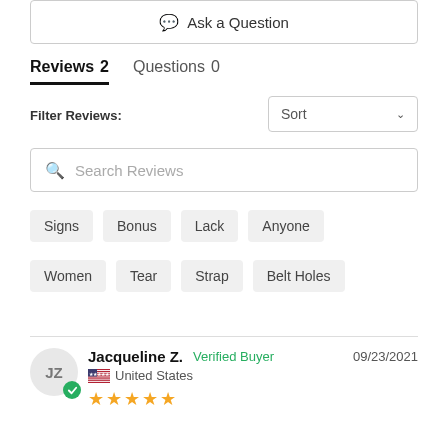Ask a Question
Reviews 2   Questions 0
Filter Reviews:
Search Reviews
Signs
Bonus
Lack
Anyone
Women
Tear
Strap
Belt Holes
Jacqueline Z.  Verified Buyer  09/23/2021  United States